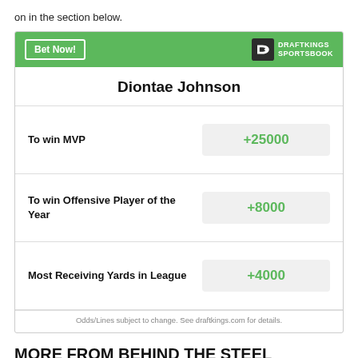on in the section below.
| Bet | Odds |
| --- | --- |
| To win MVP | +25000 |
| To win Offensive Player of the Year | +8000 |
| Most Receiving Yards in League | +4000 |
Odds/Lines subject to change. See draftkings.com for details.
MORE FROM BEHIND THE STEEL CURTAIN